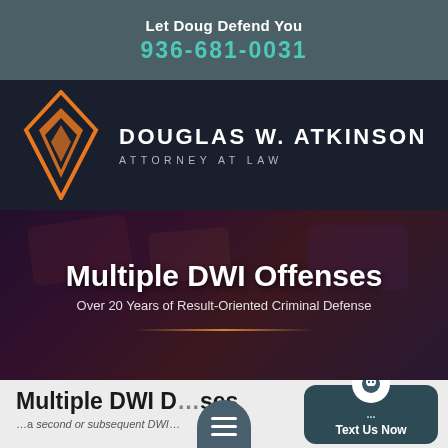Let Doug Defend You
936-681-0031
[Figure (logo): Douglas W. Atkinson Attorney at Law logo with orange diamond/arrow geometric icon on dark background]
Multiple DWI Offenses
Over 20 Years of Result-Oriented Criminal Defense
Multiple DWI D[...]ses
[partial text cut off] ...DWI...